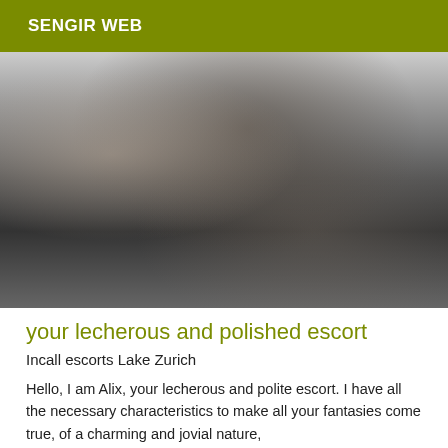SENGIR WEB
[Figure (photo): Black and white close-up photograph of a woman in lingerie]
your lecherous and polished escort
Incall escorts Lake Zurich
Hello, I am Alix, your lecherous and polite escort. I have all the necessary characteristics to make all your fantasies come true, of a charming and jovial nature,